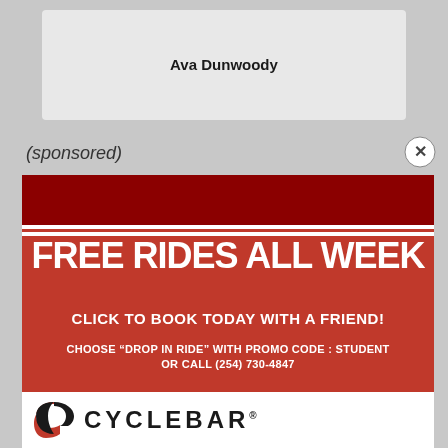Ava Dunwoody
(sponsored)
[Figure (infographic): CycleBar advertisement with red background. Large white bold text reads: FREE RIDES ALL WEEK. Below: CLICK TO BOOK TODAY WITH A FRIEND! Then: CHOOSE "DROP IN RIDE" WITH PROMO CODE : STUDENT OR CALL (254) 730-4847. CycleBar logo at bottom.]